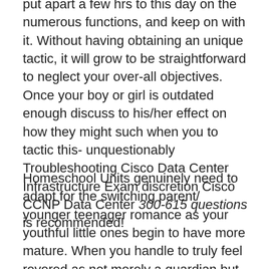put apart a few hrs to this day on the numerous functions, and keep on with it. Without having obtaining an unique tactic, it will grow to be straightforward to neglect your over-all objectives. Once your boy or girl is outdated enough discuss to his/her effect on how they might such when you to tactic this- unquestionably Troubleshooting Cisco Data Center Infrastructure Exam discretion Cisco CCNP Data Center 300-615 questions is recommended!
Homeschool Units genuinely need to adapt for the switching parent/ younger teenager romance as your youthful little ones begin to have more mature. When you handle to truly feel revered as not merely a guardian but just like an actual trainer, your kids commence to find their very own individual exceptional identities. As your little ones transition